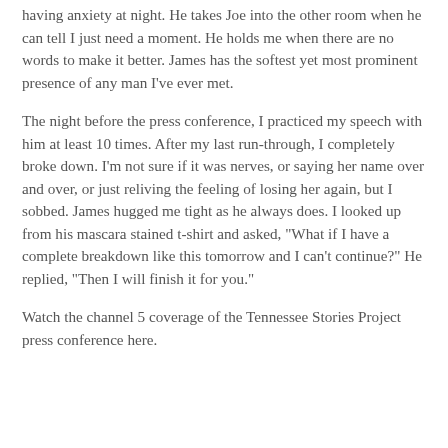having anxiety at night. He takes Joe into the other room when he can tell I just need a moment. He holds me when there are no words to make it better. James has the softest yet most prominent presence of any man I've ever met.
The night before the press conference, I practiced my speech with him at least 10 times. After my last run-through, I completely broke down. I'm not sure if it was nerves, or saying her name over and over, or just reliving the feeling of losing her again, but I sobbed. James hugged me tight as he always does. I looked up from his mascara stained t-shirt and asked, "What if I have a complete breakdown like this tomorrow and I can't continue?" He replied, "Then I will finish it for you."
Watch the channel 5 coverage of the Tennessee Stories Project press conference here.